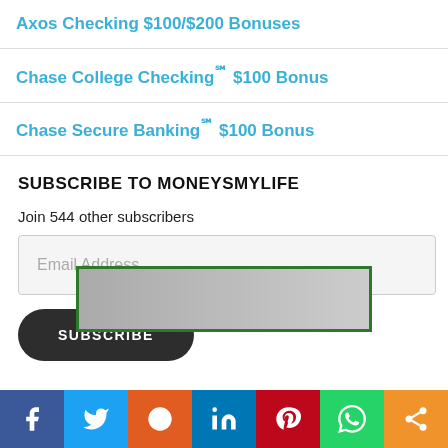Axos Checking $100/$200 Bonuses
Chase College Checking℠ $100 Bonus
Chase Secure Banking℠ $100 Bonus
SUBSCRIBE TO MONEYSMYLIFE
Join 544 other subscribers
Email Address
SUBSCRIBE
[Figure (photo): Partially visible image at bottom of page with green border]
Social share bar: Facebook, Twitter, Reddit, LinkedIn, Pinterest, WhatsApp, Share